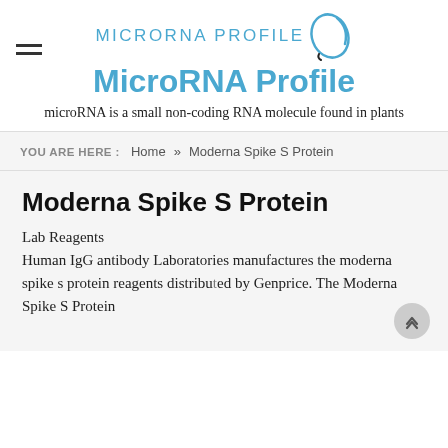[Figure (logo): MicroRNA Profile logo with blue circular swoosh graphic and text 'MICRORNA PROFILE' in blue uppercase letters]
MicroRNA Profile
microRNA is a small non-coding RNA molecule found in plants
YOU ARE HERE :   Home  »  Moderna Spike S Protein
Moderna Spike S Protein
Lab Reagents
Human IgG antibody Laboratories manufactures the moderna spike s protein reagents distributed by Genprice. The Moderna Spike S Protein